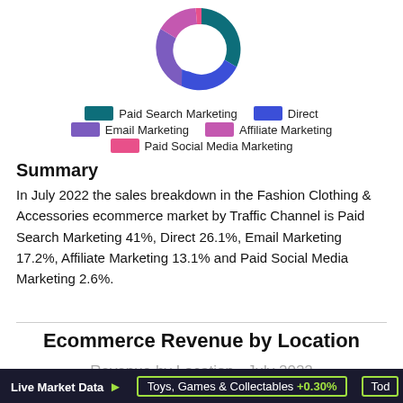[Figure (donut-chart): Traffic Channel Sales Breakdown - July 2022]
Summary
In July 2022 the sales breakdown in the Fashion Clothing & Accessories ecommerce market by Traffic Channel is Paid Search Marketing 41%, Direct 26.1%, Email Marketing 17.2%, Affiliate Marketing 13.1% and Paid Social Media Marketing 2.6%.
Ecommerce Revenue by Location
Revenue by Location - July 2022
Live Market Data | Toys, Games & Collectables +0.30% | Tod